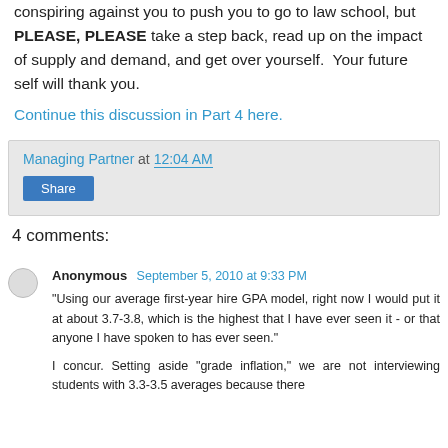conspiring against you to push you to go to law school, but PLEASE, PLEASE take a step back, read up on the impact of supply and demand, and get over yourself.  Your future self will thank you.
Continue this discussion in Part 4 here.
Managing Partner at 12:04 AM
Share
4 comments:
Anonymous September 5, 2010 at 9:33 PM
"Using our average first-year hire GPA model, right now I would put it at about 3.7-3.8, which is the highest that I have ever seen it - or that anyone I have spoken to has ever seen."
I concur. Setting aside "grade inflation," we are not interviewing students with 3.3-3.5 averages because there